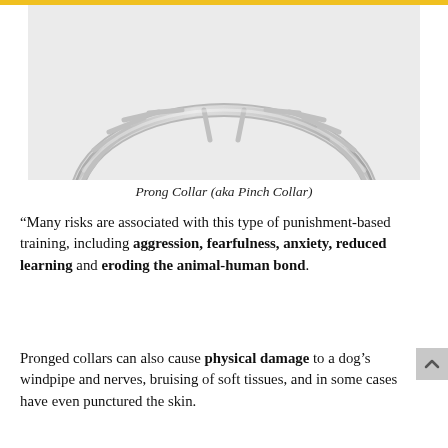[Figure (photo): Close-up photograph of a metal prong collar (also known as a pinch collar) against a light gray background, showing the chain links and inward-pointing metal prongs arranged in a circular shape.]
Prong Collar (aka Pinch Collar)
“Many risks are associated with this type of punishment-based training, including aggression, fearfulness, anxiety, reduced learning and eroding the animal-human bond.
Pronged collars can also cause physical damage to a dog’s windpipe and nerves, bruising of soft tissues, and in some cases have even punctured the skin.